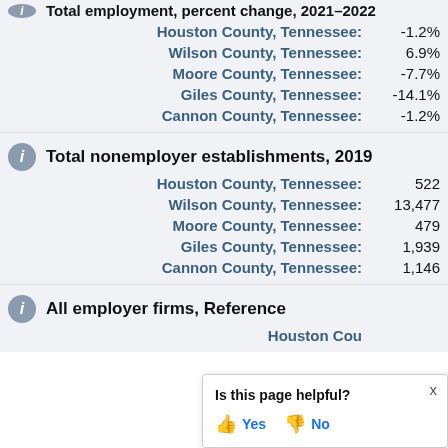Total employment, percent change, 2021-2022 (partial)
Houston County, Tennessee: -1.2%
Wilson County, Tennessee: 6.9%
Moore County, Tennessee: -7.7%
Giles County, Tennessee: -14.1%
Cannon County, Tennessee: -1.2%
Total nonemployer establishments, 2019
Houston County, Tennessee: 522
Wilson County, Tennessee: 13,477
Moore County, Tennessee: 479
Giles County, Tennessee: 1,939
Cannon County, Tennessee: 1,146
All employer firms, Reference year...
Houston County, Tennessee: (partially visible)